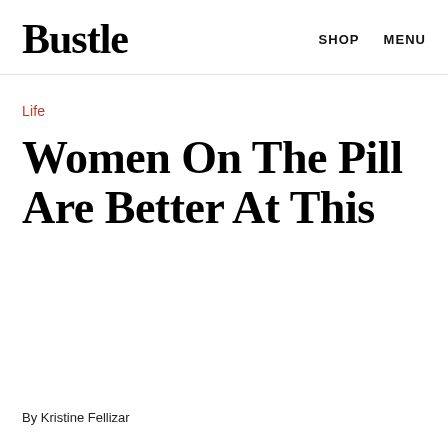Bustle   SHOP   MENU
Life
Women On The Pill Are Better At This
By Kristine Fellizar